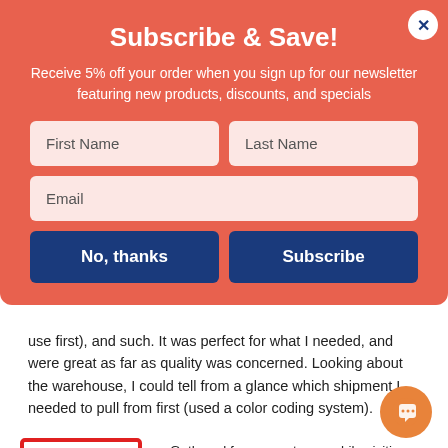Subscribe & Save!
Receive 5% off your order when you sign up for our newsletter featuring new products, discounts, and specials
First Name | Last Name | Email (form fields)
No, thanks | Subscribe (buttons)
use first), and such. It was perfect for what I needed, and were great as far as quality was concerned. Looking about the warehouse, I could tell from a glance which shipment I needed to pull from first (used a color coding system).
Gathered from a customer while visiting
[Figure (logo): Avery logo with red outline rectangle and blue bold text AVERY]
avery.com